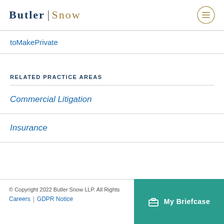Butler Snow
toMakePrivate
RELATED PRACTICE AREAS
Commercial Litigation
Insurance
© Copyright 2022 Butler Snow LLP. All Rights | Careers | GDPR Notice | My Briefcase